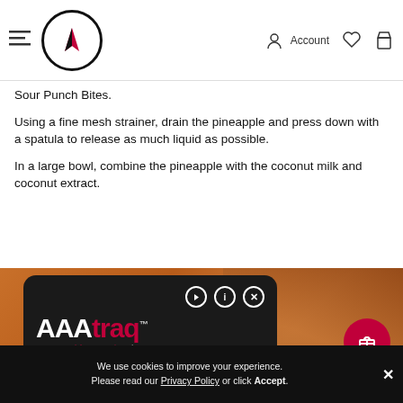AAA — Account, Wishlist, Cart
Sour Punch Bites.
Using a fine mesh strainer, drain the pineapple and press down with a spatula to release as much liquid as possible.
In a large bowl, combine the pineapple with the coconut milk and coconut extract.
[Figure (screenshot): AAAtraq accessibility overlay card on a food/cupcake background image. Card shows AAAtraq logo in white and red, ID A11742/shop.america...| Aug 24 2022, a divider line, and a human figure accessibility icon in a circle outline in red/pink. Card has play, info, and close buttons top right.]
We use cookies to improve your experience. Please read our Privacy Policy or click Accept.